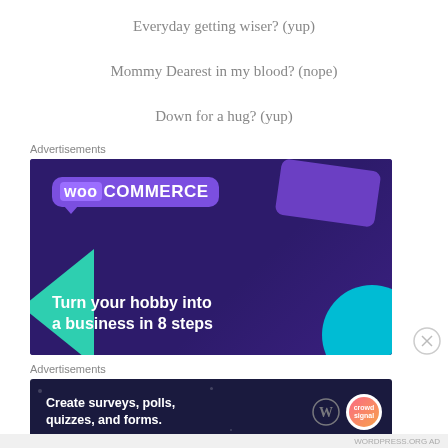Everyday getting wiser? (yup)
Mommy Dearest in my blood? (nope)
Down for a hug? (yup)
Advertisements
[Figure (screenshot): WooCommerce advertisement banner: dark purple background with green triangle shape on left, teal circle bottom right, purple rounded card top right. WooCommerce logo in speech bubble at top left. Text reads 'Turn your hobby into a business in 8 steps' in white bold font.]
Advertisements
[Figure (screenshot): Survey/polls advertisement banner with dark navy background, white bold text reading 'Create surveys, polls, quizzes, and forms.' with WordPress logo and Crowdsignal logo on the right side.]